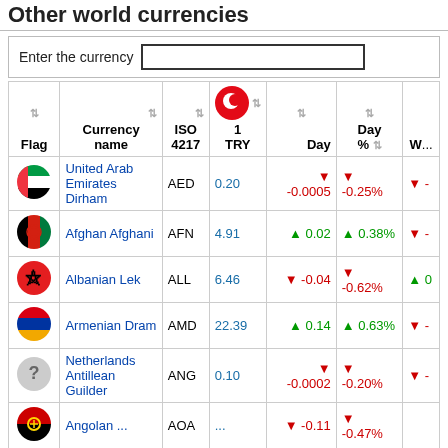Other world currencies
Enter the currency [input box]
| Flag | Currency name | ISO 4217 | 1 TRY | Day | Day % | W... |
| --- | --- | --- | --- | --- | --- | --- |
| [UAE flag] | United Arab Emirates Dirham | AED | 0.20 | ▼ -0.0005 | ▼ -0.25% | ▼ - |
| [AFN flag] | Afghan Afghani | AFN | 4.91 | ▲ 0.02 | ▲ 0.38% | ▼ - |
| [ALL flag] | Albanian Lek | ALL | 6.46 | ▼ -0.04 | ▼ -0.62% | ▲ 0 |
| [AMD flag] | Armenian Dram | AMD | 22.39 | ▲ 0.14 | ▲ 0.63% | ▼ - |
| [?] | Netherlands Antillean Guilder | ANG | 0.10 | ▼ -0.0002 | ▼ -0.20% | ▼ - |
| [AOA flag] | Angolan ... | AOA | ... | ▼ -0.11 | ▼ -0.47% |  |